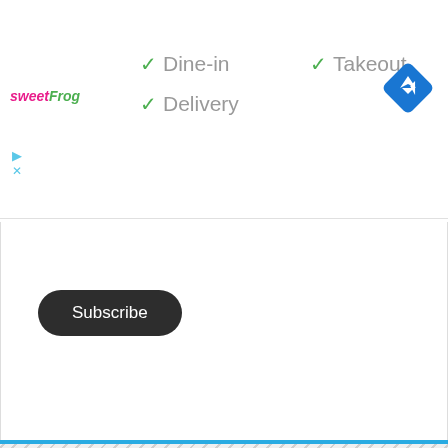[Figure (logo): sweetFrog logo — pink 'sweet' and green 'Frog' text in italic]
✓ Dine-in
✓ Takeout
✓ Delivery
[Figure (other): Blue diamond direction/navigation icon]
[Figure (other): Collapse/chevron up button panel]
Subscribe
[Figure (other): Hatched divider area]
[Figure (other): White content panel with blue bottom border]
20
SHARES
[Figure (other): Social share buttons: Facebook, Twitter, Pinterest, More]